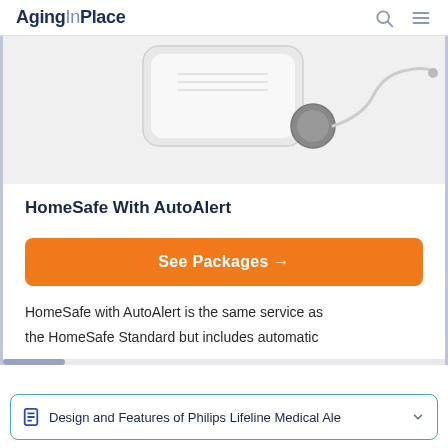AgingInPlace
[Figure (photo): Product photo of a HomeSafe medical alert device base unit with a small pendant/button and coiled cable, shown in grayscale on white background.]
HomeSafe With AutoAlert
See Packages →
HomeSafe with AutoAlert is the same service as the HomeSafe Standard but includes automatic
Design and Features of Philips Lifeline Medical Ale…